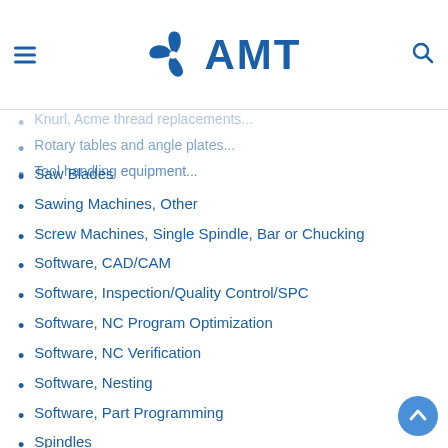AMT
Saw Blades
Sawing Machines, Other
Screw Machines, Single Spindle, Bar or Chucking
Software, CAD/CAM
Software, Inspection/Quality Control/SPC
Software, NC Program Optimization
Software, NC Verification
Software, Nesting
Software, Part Programming
Spindles
Super (Micro) Finishing Machines
Threading and Cut-Off Machines, Pipe and Bar
Tool Holders and Adapters
Tool Presetting Equipment
Tool Turrets
Training of All Types, Including Audiovisual
Turn/Mill Machines, CNC
Turning Centers, Horizontal, CNC
Turning Centers, Inverted Vertical, CNC